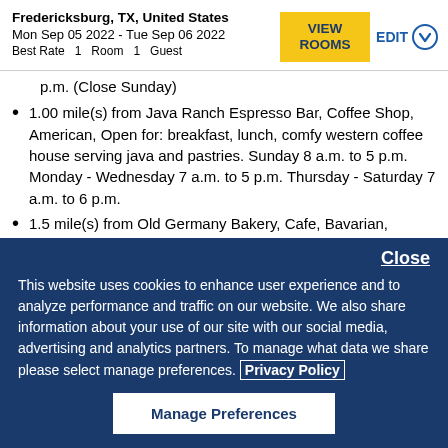Fredericksburg, TX, United States
Mon Sep 05 2022 - Tue Sep 06 2022
Best Rate   1  Room  1  Guest
p.m. (Close Sunday)
1.00 mile(s) from Java Ranch Espresso Bar, Coffee Shop, American, Open for: breakfast, lunch, comfy western coffee house serving java and pastries. Sunday 8 a.m. to 5 p.m. Monday - Wednesday 7 a.m. to 5 p.m. Thursday - Saturday 7 a.m. to 6 p.m.
1.5 mile(s) from Old Germany Bakery, Cafe, Bavarian,
This website uses cookies to enhance user experience and to analyze performance and traffic on our website. We also share information about your use of our site with our social media, advertising and analytics partners. To manage what data we share please select manage preferences. Privacy Policy
Manage Preferences